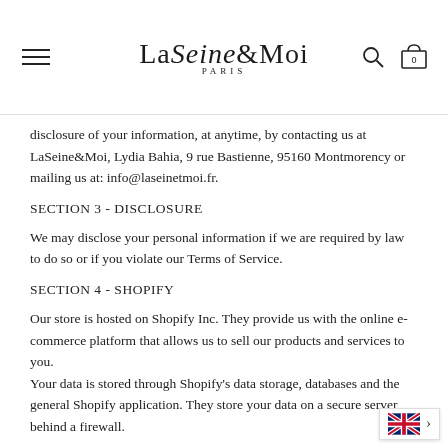LaSeine&Moi PARIS
disclosure of your information, at anytime, by contacting us at LaSeine&Moi, Lydia Bahia, 9 rue Bastienne, 95160 Montmorency or mailing us at: info@laseinetmoi.fr.
SECTION 3 - DISCLOSURE
We may disclose your personal information if we are required by law to do so or if you violate our Terms of Service.
SECTION 4 - SHOPIFY
Our store is hosted on Shopify Inc. They provide us with the online e-commerce platform that allows us to sell our products and services to you.
Your data is stored through Shopify's data storage, databases and the general Shopify application. They store your data on a secure server behind a firewall.